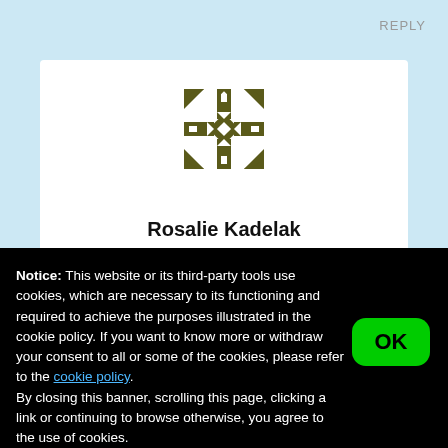REPLY
[Figure (illustration): Decorative geometric snowflake/mandala avatar icon in olive/dark yellow color on white background]
Rosalie Kadelak
Notice: This website or its third-party tools use cookies, which are necessary to its functioning and required to achieve the purposes illustrated in the cookie policy. If you want to know more or withdraw your consent to all or some of the cookies, please refer to the cookie policy.
By closing this banner, scrolling this page, clicking a link or continuing to browse otherwise, you agree to the use of cookies.
OK